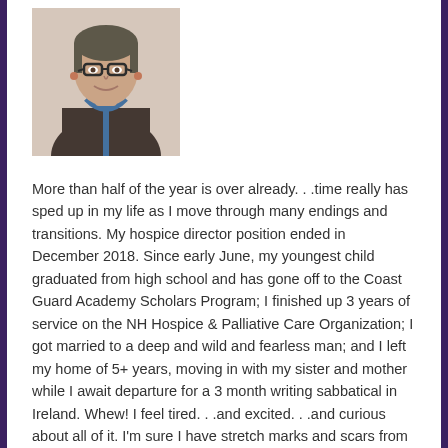[Figure (photo): Portrait photo of a woman with glasses wearing a dark top with a blue scarf/lanyard, smiling at the camera.]
More than half of the year is over already. . .time really has sped up in my life as I move through many endings and transitions.  My hospice director position ended in December 2018.  Since early June, my youngest child graduated from high school and has gone off to the Coast Guard Academy Scholars Program; I finished up 3 years of service on the NH Hospice & Palliative Care Organization; I got married to a deep and wild and fearless man;  and I left my home of 5+ years, moving in with my sister and mother while I await departure for a 3 month writing sabbatical in Ireland.  Whew!  I feel tired. . .and excited. . .and curious about all of it.  I'm sure I have stretch marks and scars from the rapid growth, but at the same time I feel more myself